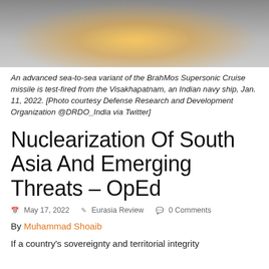[Figure (photo): Missile launch photo showing BrahMos Supersonic Cruise missile being test-fired, with bright flame and smoke against a grey sky.]
An advanced sea-to-sea variant of the BrahMos Supersonic Cruise missile is test-fired from the Visakhapatnam, an Indian navy ship, Jan. 11, 2022. [Photo courtesy Defense Research and Development Organization @DRDO_India via Twitter]
Nuclearization Of South Asia And Emerging Threats – OpEd
May 17, 2022  Eurasia Review  0 Comments
By Muhammad Shoaib
If a country's sovereignty and territorial integrity